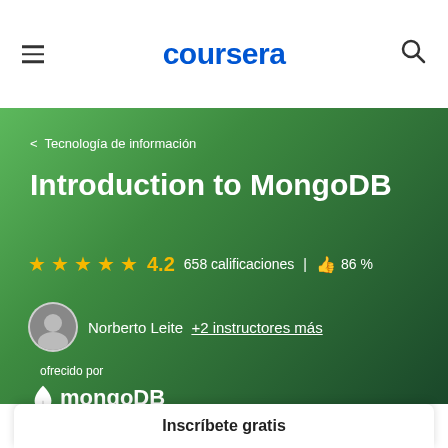coursera
< Tecnología de información
Introduction to MongoDB
★★★★★ 4.2  658 calificaciones  |  👍  86 %
Norberto Leite  +2 instructores más
ofrecido por
mongoDB
Inscríbete gratis